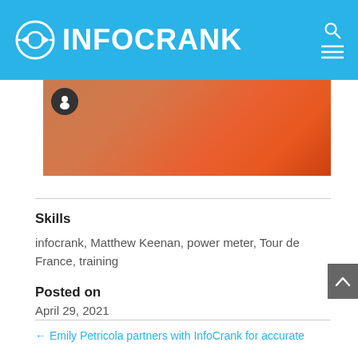INFOCRANK
[Figure (photo): Partial photo showing a person wearing an orange cycling jersey, with a circular user avatar icon overlay in the top-left corner of the image.]
Skills
infocrank, Matthew Keenan, power meter, Tour de France, training
Posted on
April 29, 2021
← Emily Petricola partners with InfoCrank for accurate